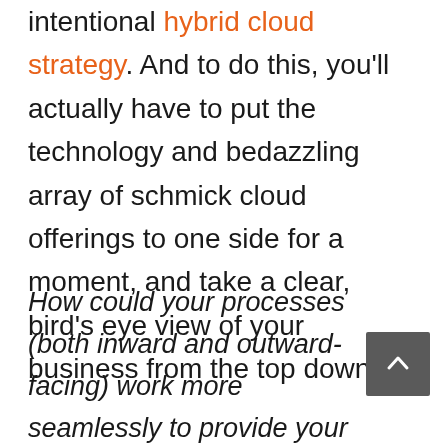intentional hybrid cloud strategy. And to do this, you'll actually have to put the technology and bedazzling array of schmick cloud offerings to one side for a moment, and take a clear, bird's eye view of your business from the top down.
How could your processes (both inward and outward-facing) work more seamlessly to provide your offerings?